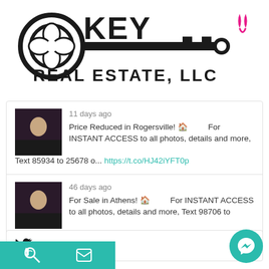[Figure (logo): Key Real Estate LLC logo with key shape and pink ribbon, text REAL ESTATE, LLC]
11 days ago
Price Reduced in Rogersville! 🏠 For INSTANT ACCESS to all photos, details and more, Text 85934 to 25678 o... https://t.co/HJ42iYFT0p
46 days ago
For Sale in Athens! 🏠 For INSTANT ACCESS to all photos, details and more, Text 98706 to 25678 or go to... https://t.co/gQFLwj5YU7
Follow on Twitter